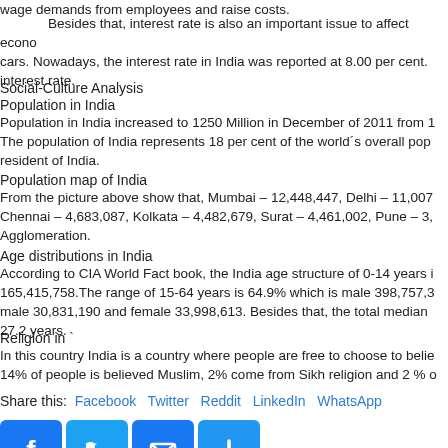wage demands from employees and raise costs.
Besides that, interest rate is also an important issue to affect econo cars. Nowadays, the interest rate in India was reported at 8.00 per cent. interest rate.
Social-Culture Analysis
Population in India
Population in India increased to 1250 Million in December of 2011 from 1 The population of India represents 18 per cent of the world´s overall pop resident of India.
Population map of India
From the picture above show that, Mumbai – 12,448,447, Delhi – 11,007 Chennai – 4,683,087, Kolkata – 4,482,679, Surat – 4,461,002, Pune – 3, Agglomeration.
Age distributions in India
According to CIA World Fact book, the India age structure of 0-14 years i 165,415,758.The range of 15-64 years is 64.9% which is male 398,757,3 male 30,831,190 and female 33,998,613. Besides that, the total median 27.2 years.
Religion in `
In this country India is a country where people are free to choose to belie 14% of people is believed Muslim, 2% come from Sikh religion and 2 % o
Share this: Facebook Twitter Reddit LinkedIn WhatsApp
[Figure (infographic): Social media share icons: Facebook, Twitter, Email, Share (plus sign) buttons in blue]